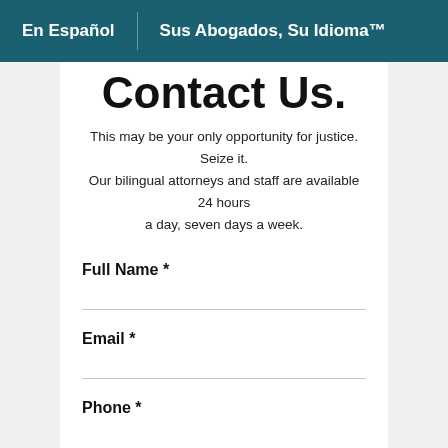En Español | Sus Abogados, Su Idioma™
Contact Us.
This may be your only opportunity for justice. Seize it. Our bilingual attorneys and staff are available 24 hours a day, seven days a week.
Full Name *
Email *
Phone *